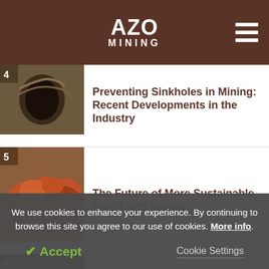AZO MINING
Preventing Sinkholes in Mining: Recent Developments in the Industry
The Future of More Sustainable Rare Earth Mining
The Geotechnical Challenges of
We use cookies to enhance your experience. By continuing to browse this site you agree to our use of cookies. More info.
Accept
Cookie Settings